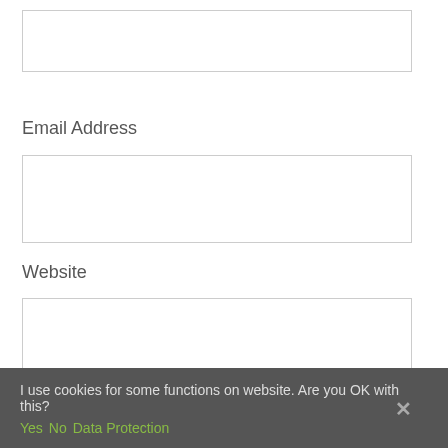[Figure (screenshot): Empty text input field at top of page]
Email Address
[Figure (screenshot): Empty email address input field]
Website
[Figure (screenshot): Empty website input field]
Save my name, email, and website in this browser for the next time I comment.
[Figure (screenshot): Post Comment green button]
I use cookies for some functions on website. Are you OK with this?
Yes   No   Data Protection